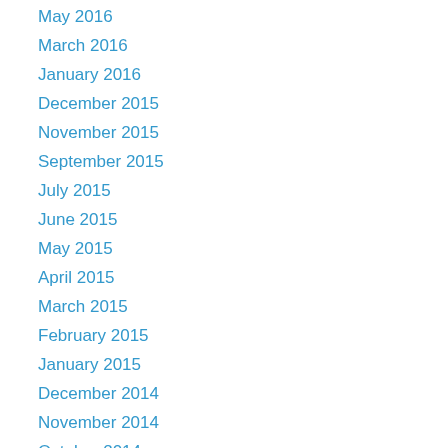May 2016
March 2016
January 2016
December 2015
November 2015
September 2015
July 2015
June 2015
May 2015
April 2015
March 2015
February 2015
January 2015
December 2014
November 2014
October 2014
September 2014
August 2014
July 2014
June 2014